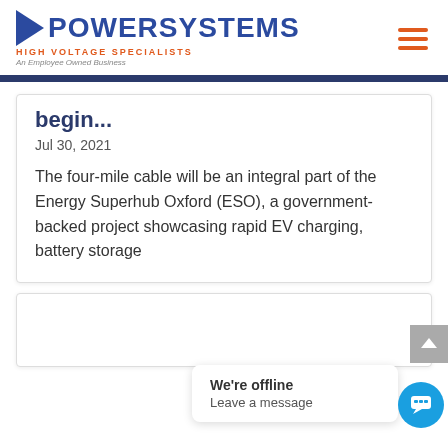[Figure (logo): PowerSystems logo with blue arrow and text, orange subtitle HIGH VOLTAGE SPECIALISTS, tagline An Employee Owned Business]
PowerSystems HIGH VOLTAGE SPECIALISTS An Employee Owned Business
begin...
Jul 30, 2021
The four-mile cable will be an integral part of the Energy Superhub Oxford (ESO), a government-backed project showcasing rapid EV charging, battery storage
We're offline
Leave a message